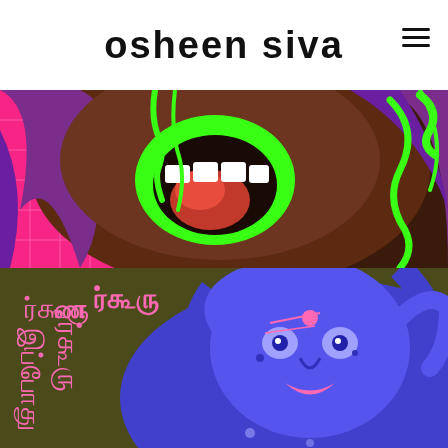osheen siva
[Figure (illustration): Close-up illustration of a dark brown-skinned figure screaming with mouth wide open, outlined in neon green. Red tongue visible, white teeth. Purple flowing hair on left side. Pink grid background on left. Neon green dripping tentacle-like shapes on right. High contrast comic/graphic art style with vivid colors.]
[Figure (illustration): Illustration of a blue-skinned figure with Tamil script text on left side in pink. Figure has detailed face with beauty marks, pink lips, and hands raised near head. Olive/khaki dark background. Pink and blue color palette. Graphic art style resembling psychedelic Tamil poster art.]